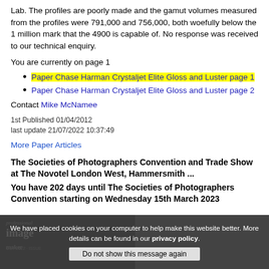Lab. The profiles are poorly made and the gamut volumes measured from the profiles were 791,000 and 756,000, both woefully below the 1 million mark that the 4900 is capable of. No response was received to our technical enquiry.
You are currently on page 1
Paper Chase Harman Crystaljet Elite Gloss and Luster page 1
Paper Chase Harman Crystaljet Elite Gloss and Luster page 2
Contact Mike McNamee
1st Published 01/04/2012
last update 21/07/2022 10:37:49
More Paper Articles
The Societies of Photographers Convention and Trade Show at The Novotel London West, Hammersmith ...
You have 202 days until The Societies of Photographers Convention starting on Wednesday 15th March 2023
[Figure (photo): Partially visible magazine cover in dark image strip at bottom of page]
We have placed cookies on your computer to help make this website better. More details can be found in our privacy policy.
Do not show this message again